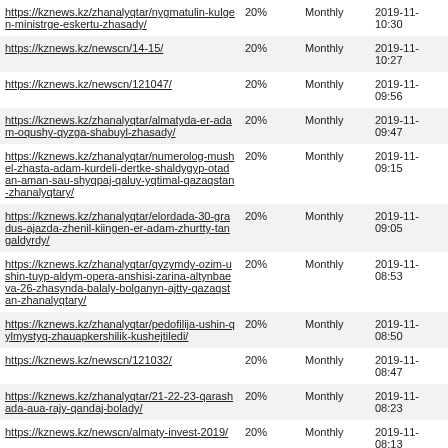| https://kznews.kz/zhanalyqtar/nygmatulin-kulgen-ministrge-eskertu-zhasady/ | 20% | Monthly | 2019-11-
10:30 |
| https://kznews.kz/newscn/14-15/ | 20% | Monthly | 2019-11-
10:27 |
| https://kznews.kz/newscn/121047/ | 20% | Monthly | 2019-11-
09:56 |
| https://kznews.kz/zhanalyqtar/almatyda-er-adam-oqushy-qyzga-shabuyl-zhasady/ | 20% | Monthly | 2019-11-
09:47 |
| https://kznews.kz/zhanalyqtar/numerolog-mushel-zhasta-adam-kurdeli-dertke-shaldygyp-otadan-aman-sau-shyqpaj-qaluy-yqtimal-qazaqstan-zhanalyqtary/ | 20% | Monthly | 2019-11-
09:15 |
| https://kznews.kz/zhanalyqtar/elordada-30-gradus-ajazda-zhenil-kiingen-er-adam-zhurtty-tangaldyrdy/ | 20% | Monthly | 2019-11-
09:05 |
| https://kznews.kz/zhanalyqtar/qyzymdy-ozim-ushin-tuyp-aldym-opera-anshisi-zarina-altynbaeva-26-zhasynda-balaly-bolganyn-ajtty-qazaqstan-zhanalyqtary/ | 20% | Monthly | 2019-11-
08:53 |
| https://kznews.kz/zhanalyqtar/pedofilija-ushin-qylmystyq-zhauapkershilik-kushejtiledi/ | 20% | Monthly | 2019-11-
08:50 |
| https://kznews.kz/newscn/121032/ | 20% | Monthly | 2019-11-
08:47 |
| https://kznews.kz/zhanalyqtar/21-22-23-qarashada-aua-rajy-qandaj-bolady/ | 20% | Monthly | 2019-11-
08:23 |
| https://kznews.kz/newscn/almaty-invest-2019/ | 20% | Monthly | 2019-11-
08:13 |